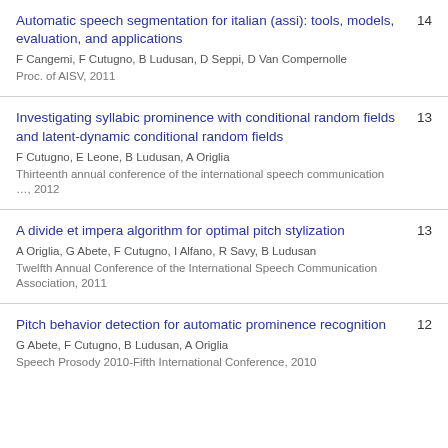Automatic speech segmentation for italian (assi): tools, models, evaluation, and applications
F Cangemi, F Cutugno, B Ludusan, D Seppi, D Van Compernolle
Proc. of AISV, 2011
14
Investigating syllabic prominence with conditional random fields and latent-dynamic conditional random fields
F Cutugno, E Leone, B Ludusan, A Origlia
Thirteenth annual conference of the international speech communication …, 2012
13
A divide et impera algorithm for optimal pitch stylization
A Origlia, G Abete, F Cutugno, I Alfano, R Savy, B Ludusan
Twelfth Annual Conference of the International Speech Communication Association, 2011
13
Pitch behavior detection for automatic prominence recognition
G Abete, F Cutugno, B Ludusan, A Origlia
Speech Prosody 2010-Fifth International Conference, 2010
12